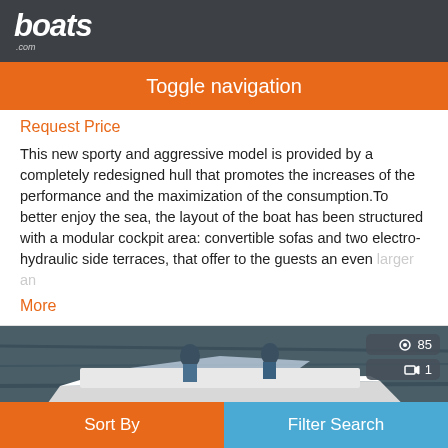boats.com
Toggle navigation
Request Price
This new sporty and aggressive model is provided by a completely redesigned hull that promotes the increases of the performance and the maximization of the consumption. To better enjoy the sea, the layout of the boat has been structured with a modular cockpit area: convertible sofas and two electro-hydraulic side terraces, that offer to the guests an even larger an
More
[Figure (photo): A boat with two people on the water, aerial/angled view]
Sort By | Filter Search